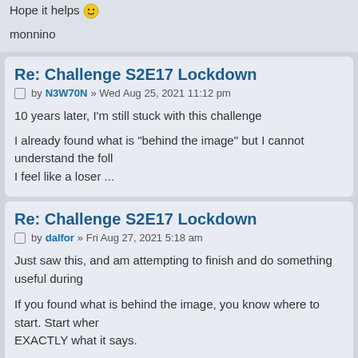Hope it helps 😊
monnino
Re: Challenge S2E17 Lockdown
by N3W70N » Wed Aug 25, 2021 11:12 pm
10 years later, I'm still stuck with this challenge
I already found what is "behind the image" but I cannot understand the foll I feel like a loser ...
Re: Challenge S2E17 Lockdown
by dalfor » Fri Aug 27, 2021 5:18 am
Just saw this, and am attempting to finish and do something useful during
If you found what is behind the image, you know where to start. Start wher EXACTLY what it says.
Re: Challenge S2E17 Lockdown
by N3W70N » Tue Aug 31, 2021 10:05 pm
dalfor wrote: